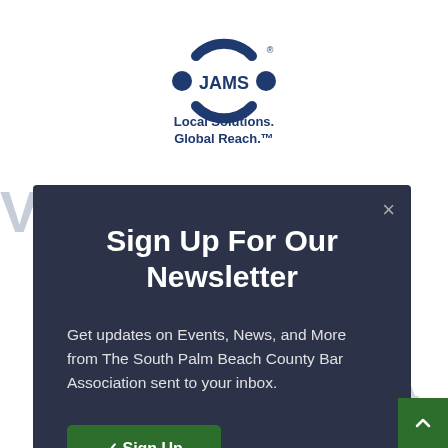[Figure (logo): JAMS logo with circular arc design and text 'Local Solutions. Global Reach.']
Sign Up For Our Newsletter
Get updates on Events, News, and More from The South Palm Beach County Bar Association sent to your inbox.
✓ Sign Up